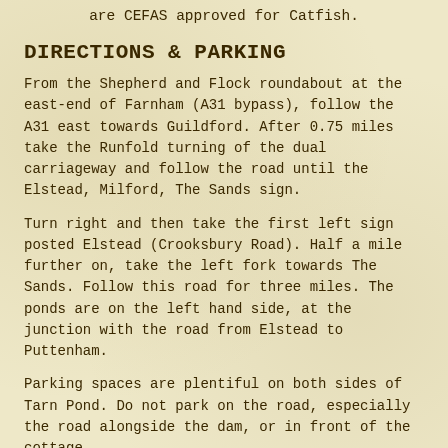are CEFAS approved for Catfish.
DIRECTIONS & PARKING
From the Shepherd and Flock roundabout at the east-end of Farnham (A31 bypass), follow the A31 east towards Guildford. After 0.75 miles take the Runfold turning of the dual carriageway and follow the road until the Elstead, Milford, The Sands sign.
Turn right and then take the first left sign posted Elstead (Crooksbury Road). Half a mile further on, take the left fork towards The Sands. Follow this road for three miles. The ponds are on the left hand side, at the junction with the road from Elstead to Puttenham.
Parking spaces are plentiful on both sides of Tarn Pond. Do not park on the road, especially the road alongside the dam, or in front of the cottage.